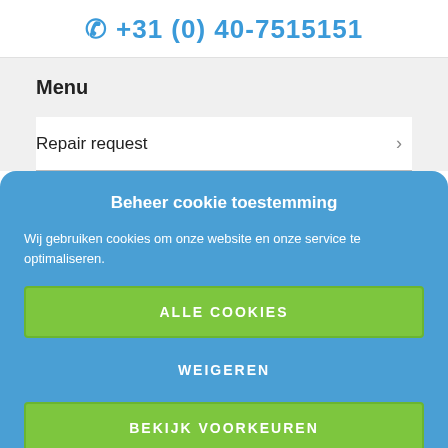☎ +31 (0) 40-7515151
Menu
Repair request
Beheer cookie toestemming
Wij gebruiken cookies om onze website en onze service te optimaliseren.
ALLE COOKIES
WEIGEREN
BEKIJK VOORKEUREN